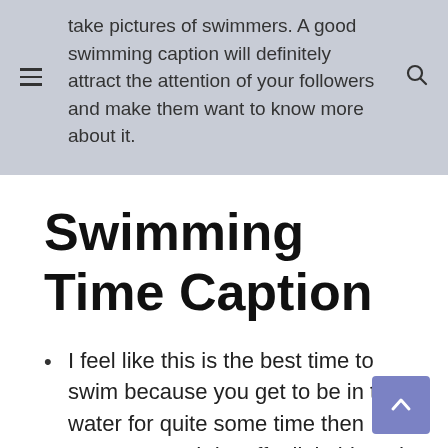take pictures of swimmers. A good swimming caption will definitely attract the attention of your followers and make them want to know more about it.
Swimming Time Caption
I feel like this is the best time to swim because you get to be in the water for quite some time then come out and dry off a little bit and then go back in.
If you're looking for the perfect